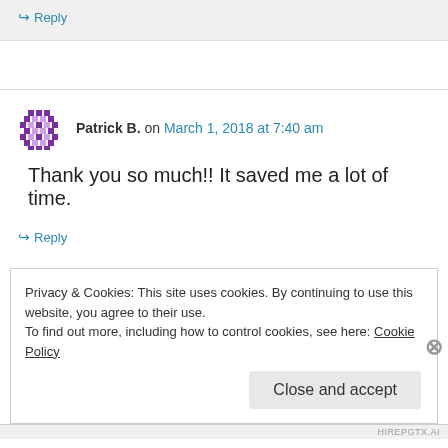↪ Reply
Patrick B. on March 1, 2018 at 7:40 am
Thank you so much!! It saved me a lot of time.
↪ Reply
Privacy & Cookies: This site uses cookies. By continuing to use this website, you agree to their use.
To find out more, including how to control cookies, see here: Cookie Policy
Close and accept
HIREPGTX.AI